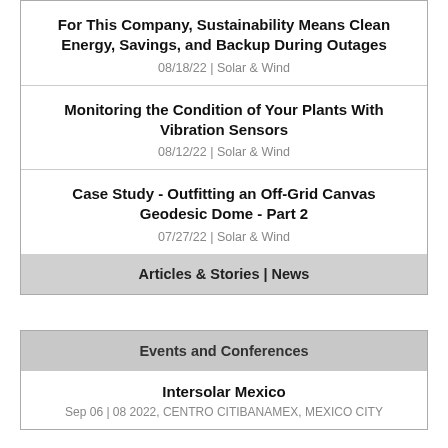For This Company, Sustainability Means Clean Energy, Savings, and Backup During Outages
08/18/22 | Solar & Wind
Monitoring the Condition of Your Plants With Vibration Sensors
08/12/22 | Solar & Wind
Case Study - Outfitting an Off-Grid Canvas Geodesic Dome - Part 2
07/27/22 | Solar & Wind
Articles & Stories | News
Events and Conferences
Intersolar Mexico
Sep 06 | 08 2022, CENTRO CITIBANAMEX, MEXICO CITY